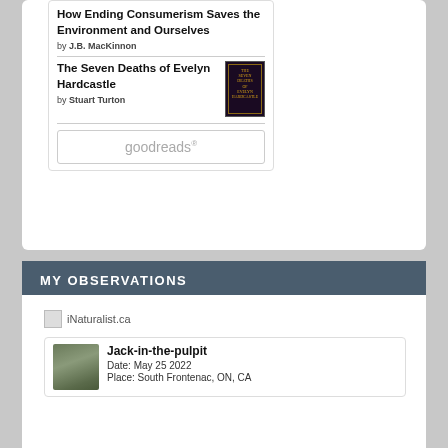How Ending Consumerism Saves the Environment and Ourselves by J.B. MacKinnon
The Seven Deaths of Evelyn Hardcastle by Stuart Turton
[Figure (illustration): Book cover of The Seven Deaths of Evelyn Hardcastle — dark decorated cover with gold border]
[Figure (logo): Goodreads button/logo]
MY OBSERVATIONS
[Figure (logo): iNaturalist.ca logo placeholder]
Jack-in-the-pulpit
Date: May 25 2022
Place: South Frontenac, ON, CA